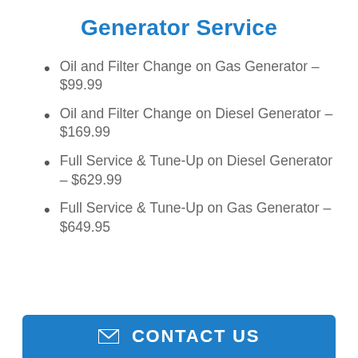Generator Service
Oil and Filter Change on Gas Generator – $99.99
Oil and Filter Change on Diesel Generator – $169.99
Full Service & Tune-Up on Diesel Generator – $629.99
Full Service & Tune-Up on Gas Generator – $649.95
CONTACT US